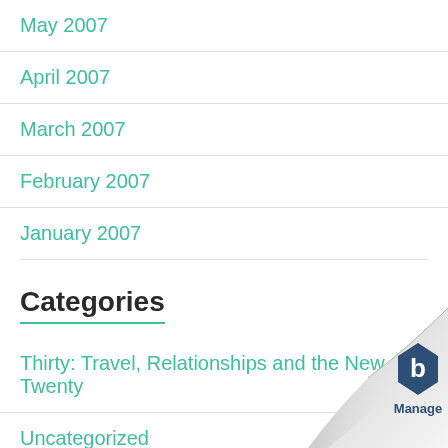May 2007
April 2007
March 2007
February 2007
January 2007
Categories
Thirty: Travel, Relationships and the New Twenty
Uncategorized
Meta
Log in